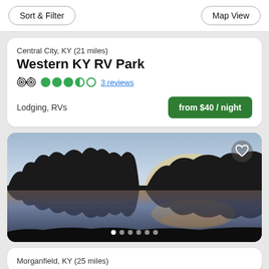Sort & Filter | Map View
Central City, KY (21 miles)
Western KY RV Park
3 reviews | Rating: 3.5/5
Lodging, RVs
from $40 / night
[Figure (photo): Sunset over a calm lake with silhouetted trees reflecting on the water. Image carousel with 6 dots, first dot active.]
Morganfield, KY (25 miles)